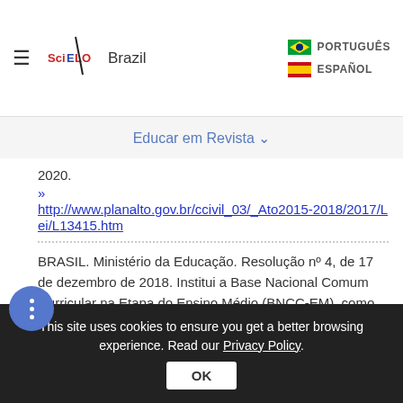SciELO Brazil — PORTUGUÊS / ESPAÑOL
Educar em Revista ∨
2020.
» http://www.planalto.gov.br/ccivil_03/_Ato2015-2018/2017/Lei/L13415.htm
BRASIL. Ministério da Educação. Resolução nº 4, de 17 de dezembro de 2018. Institui a Base Nacional Comum Curricular na Etapa do Ensino Médio (BNCC-EM), como etapa final da Educação Básica, nos termos do artigo 35 da LDB, completando o conjunto constituído pela BNCC da Educação Infantil e do Ensino Fundamental, com base na Resolução
This site uses cookies to ensure you get a better browsing experience. Read our Privacy Policy.